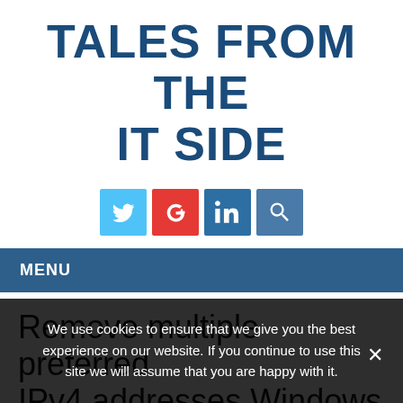TALES FROM THE IT SIDE
[Figure (infographic): Social media icons: Twitter (light blue), Google+ (red), LinkedIn (blue), Search (steel blue)]
MENU
Remove multiple preferred IPv4 addresses Windows 7
We use cookies to ensure that we give you the best experience on our website. If you continue to use this site we will assume that you are happy with it.